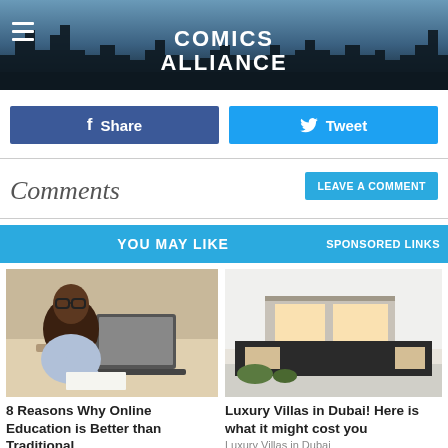[Figure (screenshot): Comics Alliance website header with city skyline silhouette background and logo text]
COMICS ALLIANCE
Share
Tweet
Comments
LEAVE A COMMENT
YOU MAY LIKE   SPONSORED LINKS
[Figure (photo): Black man with glasses sitting at desk writing with laptop open]
8 Reasons Why Online Education is Better than Traditional
pruiq.com
[Figure (photo): Modern luxury villa house model rendering]
Luxury Villas in Dubai! Here is what it might cost you
Luxury Villas in Dubai